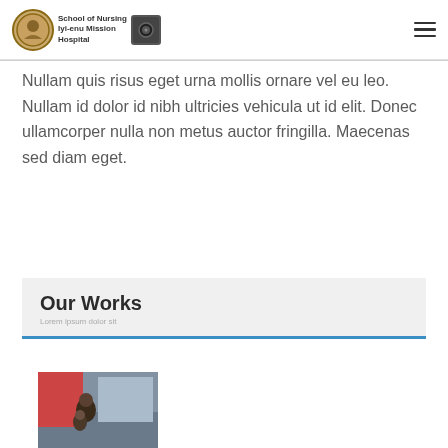School of Nursing Iyi-enu Mission Hospital
Nullam quis risus eget urna mollis ornare vel eu leo. Nullam id dolor id nibh ultricies vehicula ut id elit. Donec ullamcorper nulla non metus auctor fringilla. Maecenas sed diam eget.
Our Works
[Figure (photo): A person embracing a child on a street with vehicles in the background]